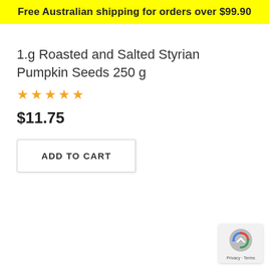Free Australian shipping for orders over $99.90
1.g Roasted and Salted Styrian Pumpkin Seeds 250 g
★★★★★
$11.75
ADD TO CART
[Figure (logo): reCAPTCHA badge with Privacy and Terms links]